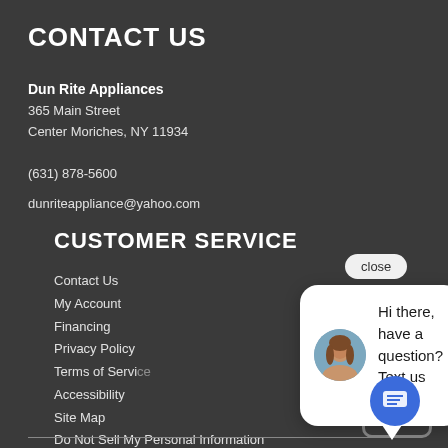CONTACT US
Dun Rite Appliances
365 Main Street
Center Moriches, NY 11934
(631) 878-5600
dunriteappliance@yahoo.com
CUSTOMER SERVICE
Contact Us
My Account
Financing
Privacy Policy
Terms of Service
Accessibility
Site Map
Do Not Sell My Personal Information
[Figure (screenshot): Chat popup overlay with close button, avatar photo, message 'Hi there, have a question? Text us here.', and blue chat icon button]